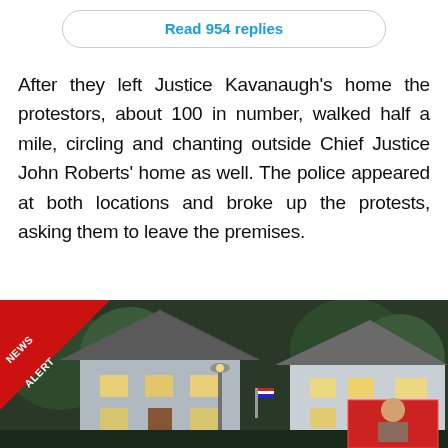Read 954 replies
After they left Justice Kavanaugh's home the protestors, about 100 in number, walked half a mile, circling and chanting outside Chief Justice John Roberts' home as well. The police appeared at both locations and broke up the protests, asking them to leave the premises.
[Figure (photo): News alert image showing a house exterior at night with a 'NEWS ALERT' ribbon in the top-left corner]